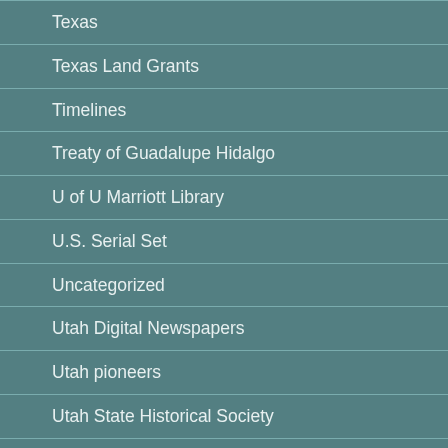Texas
Texas Land Grants
Timelines
Treaty of Guadalupe Hidalgo
U of U Marriott Library
U.S. Serial Set
Uncategorized
Utah Digital Newspapers
Utah pioneers
Utah State Historical Society
Video tutorials
War of 1812
Websites